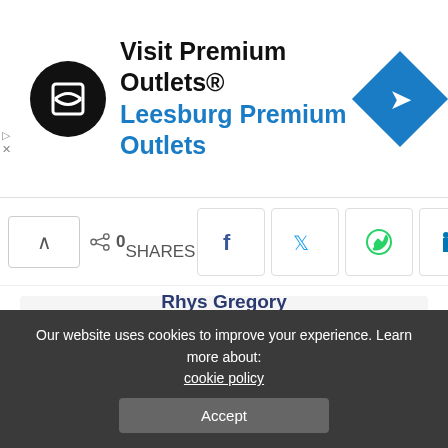[Figure (infographic): Advertisement banner for Visit Premium Outlets / Leesburg Premium Outlets with black circular logo and blue diamond navigation icon]
[Figure (infographic): Social share bar with up arrow button, 0 shares count, and social media icons: Facebook, Twitter, WhatsApp, LinkedIn, Email]
[Figure (photo): Author profile section with circular headshot photo of Rhys Gregory]
Rhys Gregory
View More Posts
Our website uses cookies to improve your experience. Learn more about: cookie policy
Accept